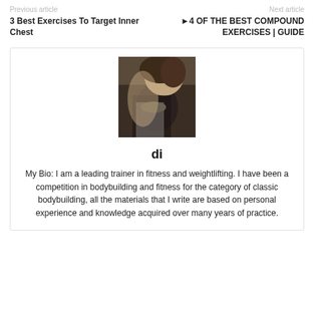Previous article | Next article
3 Best Exercises To Target Inner Chest
►4 OF THE BEST COMPOUND EXERCISES | GUIDE
[Figure (photo): Author profile photo showing a person with tattoos in a white tank top]
di
My Bio: I am a leading trainer in fitness and weightlifting. I have been a competition in bodybuilding and fitness for the category of classic bodybuilding, all the materials that I write are based on personal experience and knowledge acquired over many years of practice.